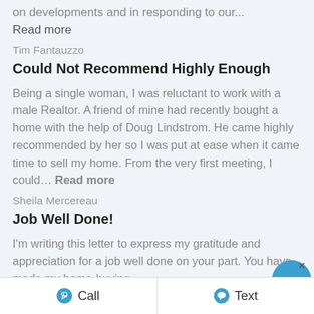on developments and in responding to our...
Read more
Tim Fantauzzo
Could Not Recommend Highly Enough
Being a single woman, I was reluctant to work with a male Realtor. A friend of mine had recently bought a home with the help of Doug Lindstrom. He came highly recommended by her so I was put at ease when it came time to sell my home. From the very first meeting, I could... Read more
Sheila Mercereau
Job Well Done!
I'm writing this letter to express my gratitude and appreciation for a job well done on your part. You have made my home-buying
Call   Text